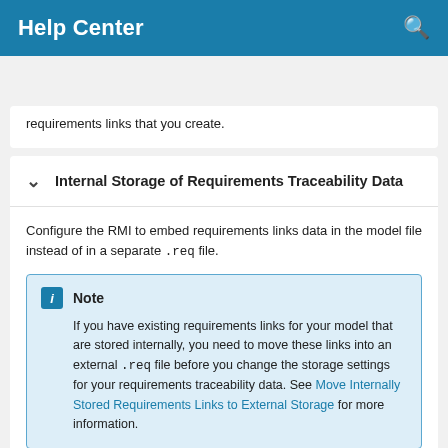Help Center
Resources
requirements links that you create.
Internal Storage of Requirements Traceability Data
Configure the RMI to embed requirements links data in the model file instead of in a separate .req file.
Note
If you have existing requirements links for your model that are stored internally, you need to move these links into an external .req file before you change the storage settings for your requirements traceability data. See Move Internally Stored Requirements Links to External Storage for more information.